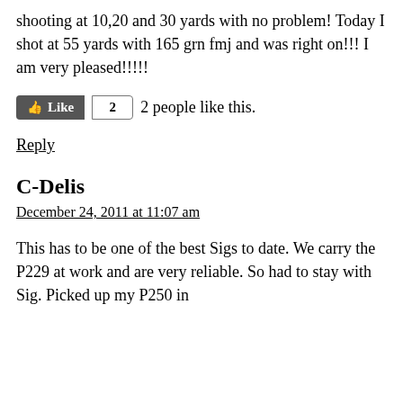shooting at 10,20 and 30 yards with no problem! Today I shot at 55 yards with 165 grn fmj and was right on!!! I am very pleased!!!!!
2 people like this.
Reply
C-Delis
December 24, 2011 at 11:07 am
This has to be one of the best Sigs to date. We carry the P229 at work and are very reliable. So had to stay with Sig. Picked up my P250 in